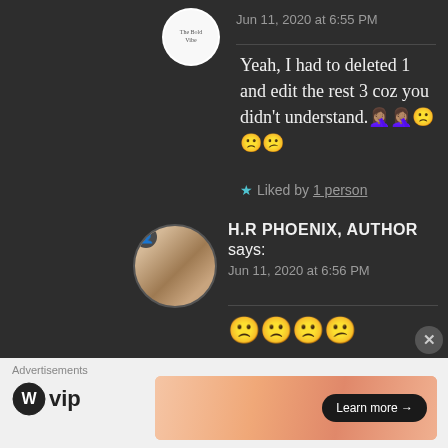Jun 11, 2020 at 6:55 PM
Yeah, I had to deleted 1 and edit the rest 3 coz you didn't understand. 🤦🤦🙁🙁😕
★ Liked by 1 person
H.R PHOENIX, AUTHOR says:
Jun 11, 2020 at 6:56 PM
🙁🙁🙁😕
Advertisements
[Figure (logo): WordPress WP VIP logo]
[Figure (illustration): Advertisement banner with gradient orange/peach background and Learn more button]